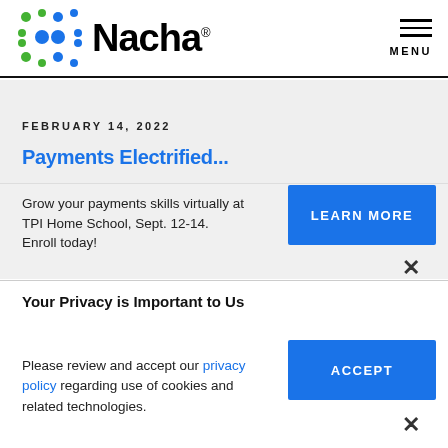Nacha — MENU
FEBRUARY 14, 2022
Grow your payments skills virtually at TPI Home School, Sept. 12-14. Enroll today!
LEARN MORE
×
Your Privacy is Important to Us
Please review and accept our privacy policy regarding use of cookies and related technologies.
ACCEPT
×